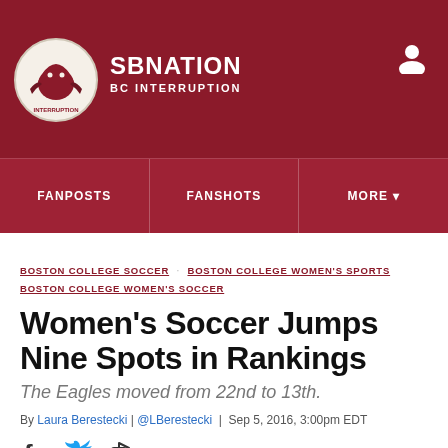SBNATION BC INTERRUPTION
FANPOSTS  FANSHOTS  MORE
BOSTON COLLEGE SOCCER  BOSTON COLLEGE WOMEN'S SPORTS  BOSTON COLLEGE WOMEN'S SOCCER
Women's Soccer Jumps Nine Spots in Rankings
The Eagles moved from 22nd to 13th.
By Laura Berestecki | @LBerestecki | Sep 5, 2016, 3:00pm EDT
SHARE